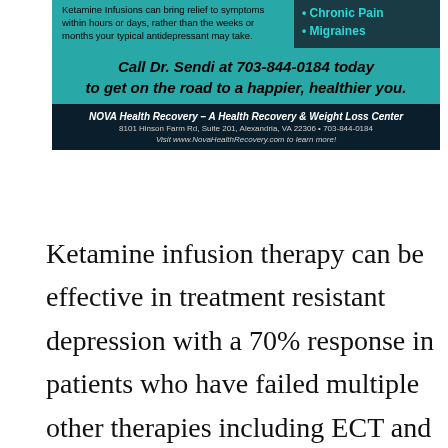[Figure (infographic): Advertisement for NOVA Health Recovery ketamine infusion clinic. Teal background with dark navy panel on right listing conditions. Contains call-to-action text, clinic name, address, and website.]
Ketamine infusion therapy can be effective in treatment resistant depression with a 70% response in patients who have failed multiple other therapies including ECT and TMS. Some patients simultaneously get TMS